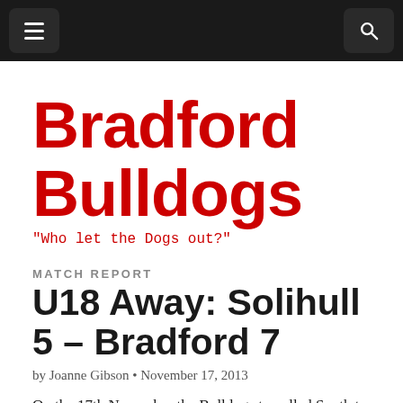Bradford Bulldogs — navigation bar
Bradford Bulldogs
"Who let the Dogs out?"
MATCH REPORT
U18 Away: Solihull 5 – Bradford 7
by Joanne Gibson • November 17, 2013
On the 17th November the Bulldogs travelled South to